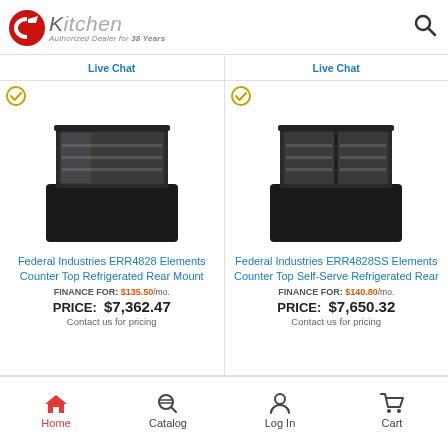CKitchen - Authorized Dealer for 38 Years
Live Chat | Live Chat
[Figure (photo): Federal Industries ERR4828 Elements Counter Top Refrigerated Rear Mount - black refrigerated display case]
Federal Industries ERR4828 Elements Counter Top Refrigerated Rear Mount
FINANCE FOR: $135.50/mo.
PRICE: $7,362.47
Contact us for pricing
[Figure (photo): Federal Industries ERR4828SS Elements Counter Top Self-Serve Refrigerated Rear - black refrigerated display case]
Federal Industries ERR4828SS Elements Counter Top Self-Serve Refrigerated Rear
FINANCE FOR: $140.80/mo.
PRICE: $7,650.32
Contact us for pricing
Home | Catalog | Log In | Cart